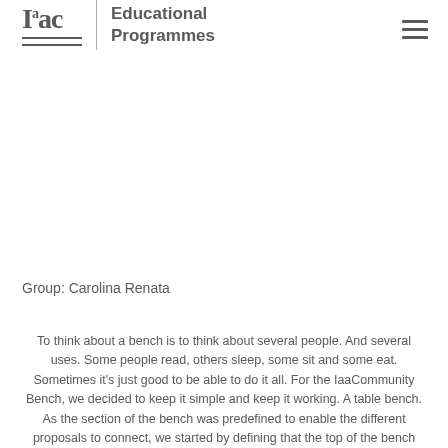Iaac | Educational Programmes
Group: Carolina Renata
To think about a bench is to think about several people. And several uses. Some people read, others sleep, some sit and some eat. Sometimes it's just good to be able to do it all. For the IaaCommunity Bench, we decided to keep it simple and keep it working. A table bench. As the section of the bench was predefined to enable the different proposals to connect, we started by defining that the top of the bench would be flat and the bottom would look like... a bench! The editing process begun by creating a cage with the command CageEdit>Select the Bench>BoundingBox> x=15, y=10,